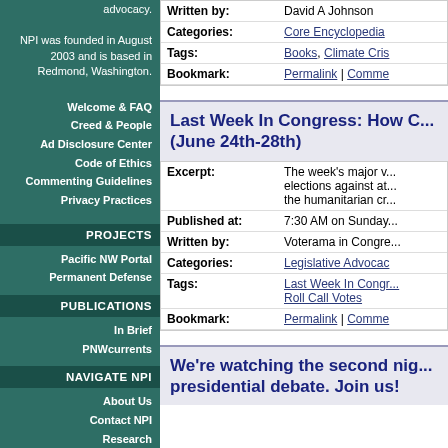advocacy.
NPI was founded in August 2003 and is based in Redmond, Washington.
Welcome & FAQ
Creed & People
Ad Disclosure Center
Code of Ethics
Commenting Guidelines
Privacy Practices
PROJECTS
Pacific NW Portal
Permanent Defense
PUBLICATIONS
In Brief
PNWcurrents
NAVIGATE NPI
About Us
Contact NPI
Research
Advocacy
Events
Publications
| Field | Value |
| --- | --- |
| Written by: | David A Johnson |
| Categories: | Core Encyclopedia |
| Tags: | Books, Climate Cris... |
| Bookmark: | Permalink | Comme... |
Last Week In Congress: How C... (June 24th-28th)
| Field | Value |
| --- | --- |
| Excerpt: | The week's major v... elections against at... the humanitarian cr... |
| Published at: | 7:30 AM on Sunday... |
| Written by: | Voterama in Congre... |
| Categories: | Legislative Advocac... |
| Tags: | Last Week In Congr...
Roll Call Votes |
| Bookmark: | Permalink | Comme... |
We're watching the second nig... presidential debate. Join us!